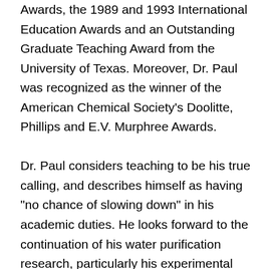Awards, the 1989 and 1993 International Education Awards and an Outstanding Graduate Teaching Award from the University of Texas. Moreover, Dr. Paul was recognized as the winner of the American Chemical Society's Doolitte, Phillips and E.V. Murphree Awards.

Dr. Paul considers teaching to be his true calling, and describes himself as having "no chance of slowing down" in his academic duties. He looks forward to the continuation of his water purification research, particularly his experimental work in electrical dialysis, as well as to devoting more time to birdwatching and photography. As one of the preeminent voices in his specialty, Dr. Paul is a fellow of the American Institute of Chemical Engineers and the North American Membrane Society, and a member of the National Academy of Engineering, the American Chemical Society, the National